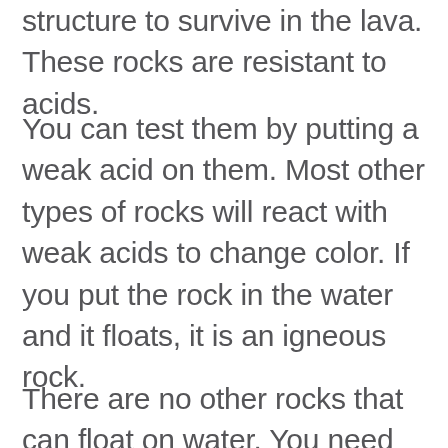structure to survive in the lava. These rocks are resistant to acids.
You can test them by putting a weak acid on them. Most other types of rocks will react with weak acids to change color. If you put the rock in the water and it floats, it is an igneous rock.
There are no other rocks that can float on water. You need to identify two types of igneous rocks to go to the…